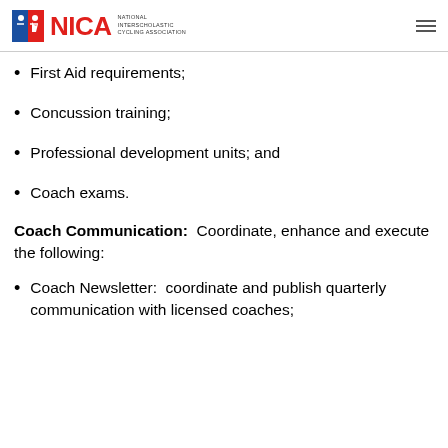NICA — National Interscholastic Cycling Association
First Aid requirements;
Concussion training;
Professional development units; and
Coach exams.
Coach Communication:  Coordinate, enhance and execute the following:
Coach Newsletter:  coordinate and publish quarterly communication with licensed coaches;